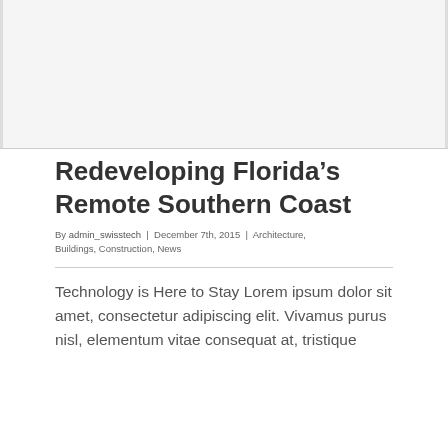[Figure (photo): Top image area, likely a photo of Florida's southern coast or architectural/construction scene. Appears blank/placeholder in the rendering.]
Redeveloping Florida's Remote Southern Coast
By admin_swisstech | December 7th, 2015 | Architecture, Buildings, Construction, News
Technology is Here to Stay Lorem ipsum dolor sit amet, consectetur adipiscing elit. Vivamus purus nisl, elementum vitae consequat at, tristique